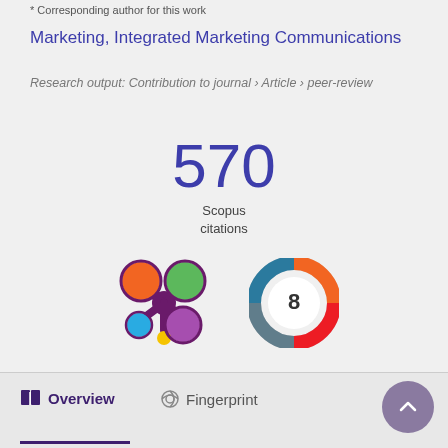* Corresponding author for this work
Marketing, Integrated Marketing Communications
Research output: Contribution to journal › Article › peer-review
570 Scopus citations
[Figure (logo): Altmetric colored bubbles logo]
[Figure (logo): Mendeley donut chart badge showing number 8]
Overview   Fingerprint